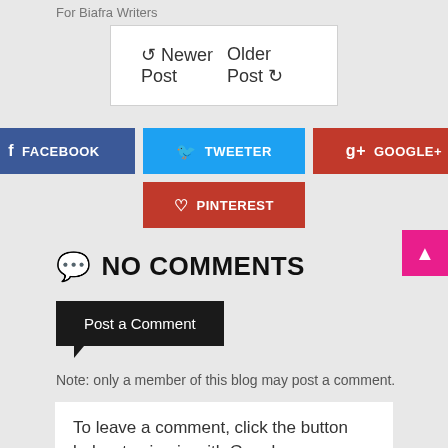For Biafra Writers
← Newer Post    Older Post →
[Figure (infographic): Social share buttons: FACEBOOK (blue), TWEETER (light blue), GOOGLE+ (red-brown), PINTEREST (dark red)]
NO COMMENTS
Post a Comment
Note: only a member of this blog may post a comment.
To leave a comment, click the button below to sign in with Google.